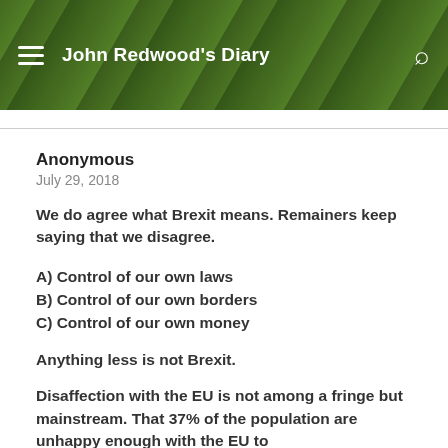John Redwood's Diary
Anonymous
July 29, 2018
We do agree what Brexit means. Remainers keep saying that we disagree.
A) Control of our own laws
B) Control of our own borders
C) Control of our own money
Anything less is not Brexit.
Disaffection with the EU is not among a fringe but mainstream. That 37% of the population are unhappy enough with the EU to